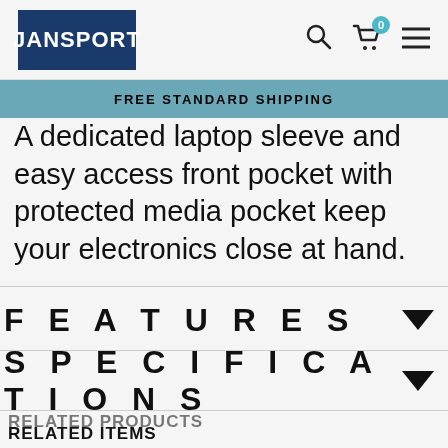JanSport — Search, Cart (0), Menu
FREE STANDARD SHIPPING
A dedicated laptop sleeve and easy access front pocket with protected media pocket keep your electronics close at hand.
FEATURES
SPECIFICATIONS
RELATED PRODUCTS / RELATED ITEMS